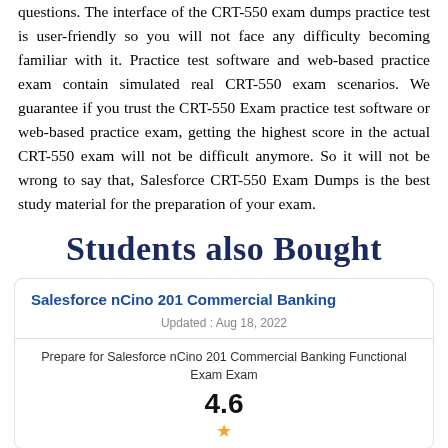questions. The interface of the CRT-550 exam dumps practice test is user-friendly so you will not face any difficulty becoming familiar with it. Practice test software and web-based practice exam contain simulated real CRT-550 exam scenarios. We guarantee if you trust the CRT-550 Exam practice test software or web-based practice exam, getting the highest score in the actual CRT-550 exam will not be difficult anymore. So it will not be wrong to say that, Salesforce CRT-550 Exam Dumps is the best study material for the preparation of your exam.
Students also Bought
Salesforce nCino 201 Commercial Banking
Updated : Aug 18, 2022
Prepare for Salesforce nCino 201 Commercial Banking Functional Exam Exam
4.6